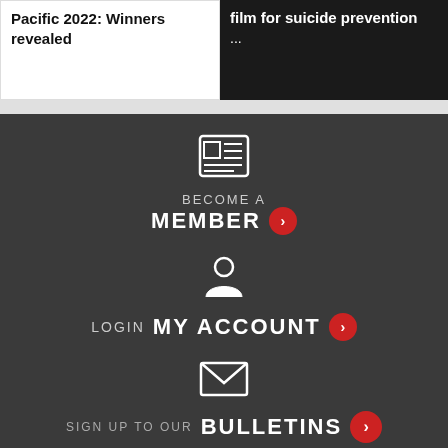Pacific 2022: Winners revealed
film for suicide prevention ...
[Figure (illustration): Newspaper/media icon with horizontal lines representing text]
BECOME A MEMBER >
[Figure (illustration): User/person silhouette icon]
LOGIN MY ACCOUNT >
[Figure (illustration): Envelope/mail icon]
SIGN UP TO OUR BULLETINS >